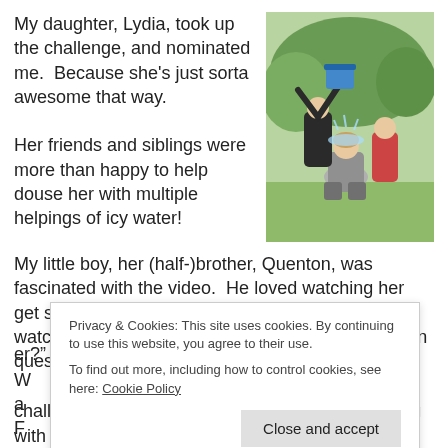My daughter, Lydia, took up the challenge, and nominated me.  Because she's just sorta awesome that way.
[Figure (photo): Photo of a person kneeling outdoors being doused with water by others, with a blue bucket visible above.]
Her friends and siblings were more than happy to help douse her with multiple helpings of icy water!
My little boy, her (half-)brother, Quenton, was fascinated with the video.  He loved watching her get splashed and sloshed and soaked!  After he watched the video a few times, he asked the golden question, “Why did they dump all that water on h[er?”]
Privacy & Cookies: This site uses cookies. By continuing to use this website, you agree to their use.
To find out more, including how to control cookies, see here: Cookie Policy
Close and accept
challenge each other to do a little bit to help.  Along with the